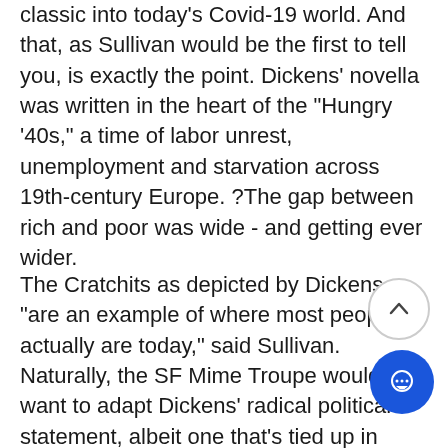classic into today's Covid-19 world. And that, as Sullivan would be the first to tell you, is exactly the point. Dickens' novella was written in the heart of the "Hungry '40s," a time of labor unrest, unemployment and starvation across 19th-century Europe. ?The gap between rich and poor was wide - and getting ever wider.
The Cratchits as depicted by Dickens "are an example of where most people actually are today," said Sullivan. Naturally, the SF Mime Troupe would want to adapt Dickens' radical political statement, albeit one that's tied up in Christmas ribbon. After all, everyone else has. The slender novella was first popularized in the USA as a radio play during the Great Depression. In Dickens' tale